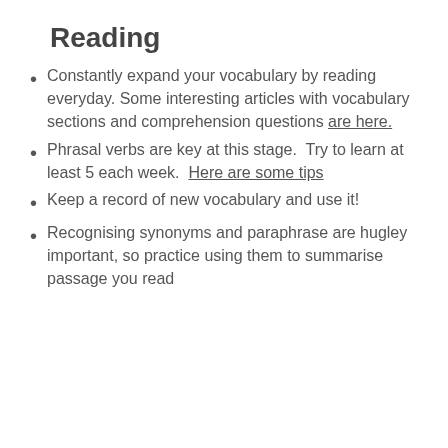Reading
Constantly expand your vocabulary by reading everyday. Some interesting articles with vocabulary sections and comprehension questions are here.
Phrasal verbs are key at this stage. Try to learn at least 5 each week. Here are some tips
Keep a record of new vocabulary and use it!
Recognising synonyms and paraphrase are hugley important, so practice using them to summarise passage you read